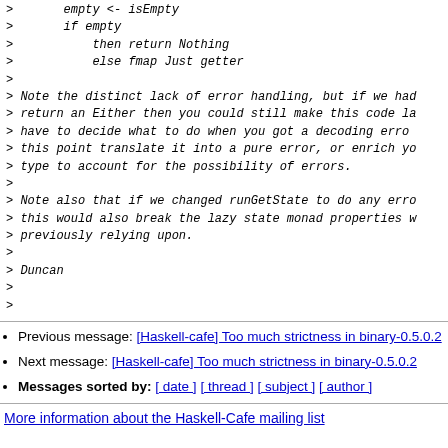> empty <- isEmpty
> if empty
>     then return Nothing
>     else fmap Just getter
>
> Note the distinct lack of error handling, but if we had return an Either then you could still make this code la have to decide what to do when you got a decoding erro this point translate it into a pure error, or enrich yo type to account for the possibility of errors.
>
> Note also that if we changed runGetState to do any erro this would also break the lazy state monad properties previously relying upon.
>
> Duncan
>
>
Previous message: [Haskell-cafe] Too much strictness in binary-0.5.0.2
Next message: [Haskell-cafe] Too much strictness in binary-0.5.0.2
Messages sorted by: [ date ] [ thread ] [ subject ] [ author ]
More information about the Haskell-Cafe mailing list